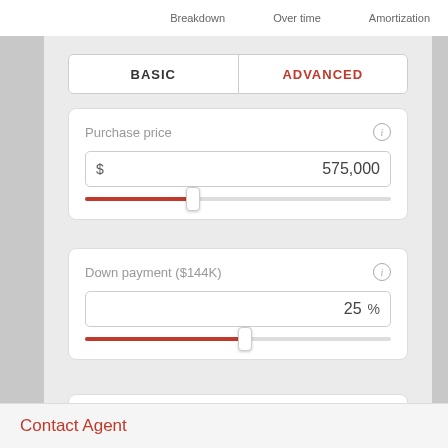Breakdown   Over time   Amortization
BASIC   ADVANCED
Purchase price
$ 575,000
Down payment ($144K)
25 %
Term (years)
30
Contact Agent